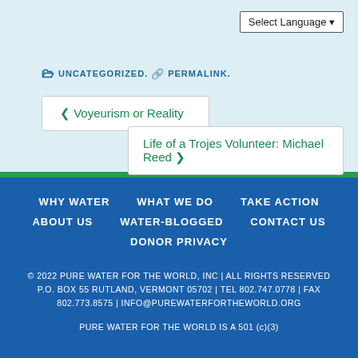UNCATEGORIZED. PERMALINK.
❮ Voyeurism or Reality
Life of a Trojes Volunteer: Michael Reed ❯
WHY WATER  WHAT WE DO  TAKE ACTION  ABOUT US  WATER-BLOGGED  CONTACT US  DONOR PRIVACY
© 2022 PURE WATER FOR THE WORLD, INC | ALL RIGHTS RESERVED
P.O. BOX 55 RUTLAND, VERMONT 05702 | TEL 802.747.0778 | FAX 802.773.8575 | INFO@PUREWATERFORTHEWORLD.ORG
PURE WATER FOR THE WORLD IS A 501(c)(3)